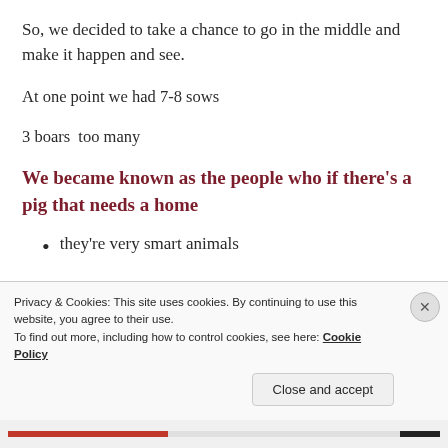So, we decided to take a chance to go in the middle and make it happen and see.
At one point we had 7-8 sows
3 boars  too many
We became known as the people who if there's a pig that needs a home
they're very smart animals
Privacy & Cookies: This site uses cookies. By continuing to use this website, you agree to their use.
To find out more, including how to control cookies, see here: Cookie Policy
Close and accept